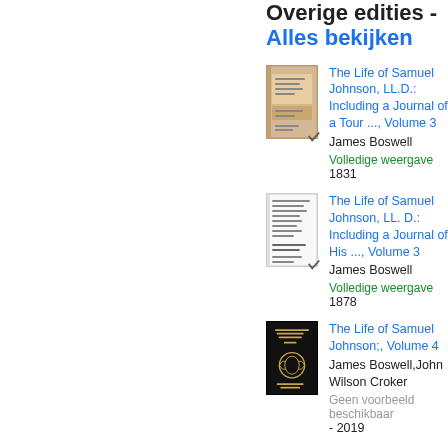Overige edities - Alles bekijken
The Life of Samuel Johnson, LL.D.: Including a Journal of a Tour ..., Volume 3 | James Boswell | Volledige weergave | 1831
The Life of Samuel Johnson, LL. D.: Including a Journal of His ..., Volume 3 | James Boswell | Volledige weergave | 1878
The Life of Samuel Johnson;, Volume 4 | James Boswell, John Wilson Croker | Geen voorbeeld beschikbaar - 2019